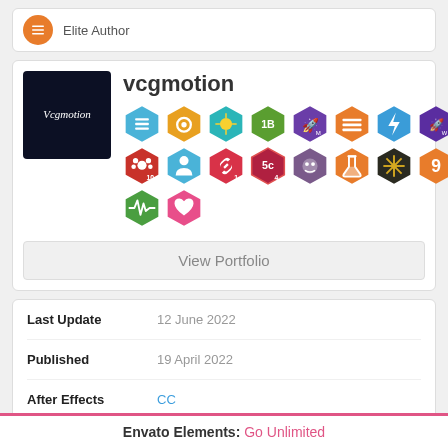Elite Author
vcgmotion
[Figure (infographic): vcgmotion profile badge icons grid with 18 colored hexagon badges]
View Portfolio
| Last Update | 12 June 2022 |
| Published | 19 April 2022 |
| After Effects | CC |
| Version |  |
Envato Elements: Go Unlimited